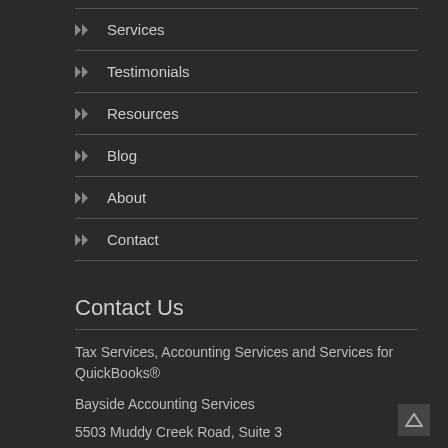▶▶ Services
▶▶ Testimonials
▶▶ Resources
▶▶ Blog
▶▶ About
▶▶ Contact
Contact Us
Tax Services, Accounting Services and Services for QuickBooks®
Bayside Accounting Services
5503 Muddy Creek Road, Suite 3